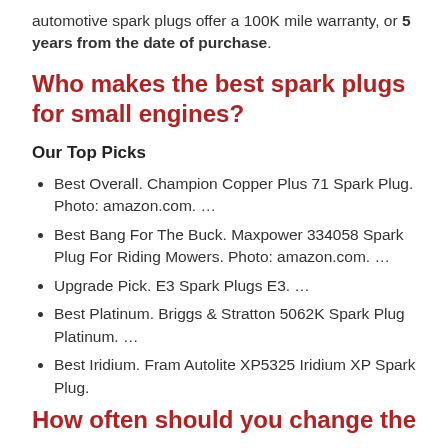automotive spark plugs offer a 100K mile warranty, or 5 years from the date of purchase.
Who makes the best spark plugs for small engines?
Our Top Picks
Best Overall. Champion Copper Plus 71 Spark Plug. Photo: amazon.com. ...
Best Bang For The Buck. Maxpower 334058 Spark Plug For Riding Mowers. Photo: amazon.com. ...
Upgrade Pick. E3 Spark Plugs E3. ...
Best Platinum. Briggs & Stratton 5062K Spark Plug Platinum. ...
Best Iridium. Fram Autolite XP5325 Iridium XP Spark Plug.
How often should you change the